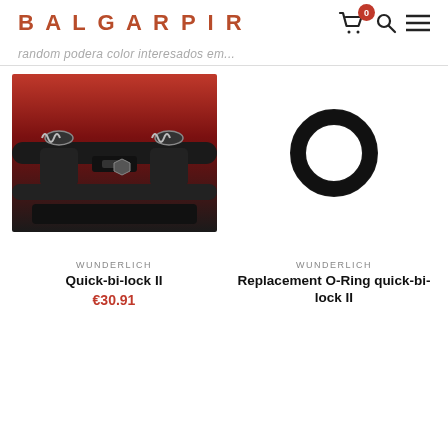BALGARPIR
random podera color interesados em...
[Figure (photo): Close-up photo of Quick-bi-lock II motorcycle accessory clamp attached to handlebars with red background]
[Figure (photo): Photo of a small black rubber O-ring on white background]
WUNDERLICH
WUNDERLICH
Quick-bi-lock II
Replacement O-Ring quick-bi-lock II
€30.91